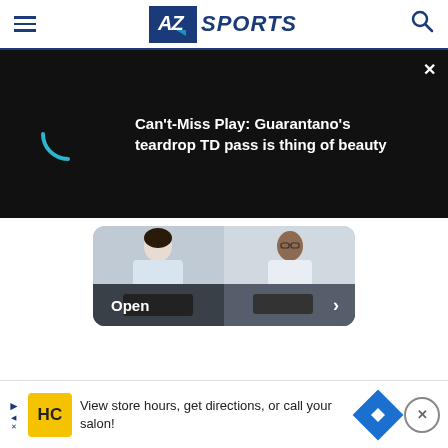[Figure (logo): AZ Sports logo with hamburger menu and search icon in site header]
[Figure (screenshot): Black video loading panel with spinner and text: Can't-Miss Play: Guarantano's teardrop TD pass is thing of beauty, with close X button]
[Figure (photo): Ad card showing people working at computers with Open button and right arrow]
[Figure (screenshot): Bottom advertisement banner: View store hours, get directions, or call your salon! with HC logo and navigation icons]